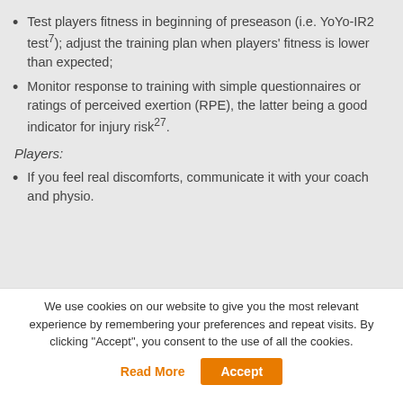Test players fitness in beginning of preseason (i.e. YoYo-IR2 test⁷); adjust the training plan when players' fitness is lower than expected;
Monitor response to training with simple questionnaires or ratings of perceived exertion (RPE), the latter being a good indicator for injury risk²⁷.
Players:
If you feel real discomforts, communicate it with your coach and physio.
We use cookies on our website to give you the most relevant experience by remembering your preferences and repeat visits. By clicking "Accept", you consent to the use of all the cookies. Read More Accept